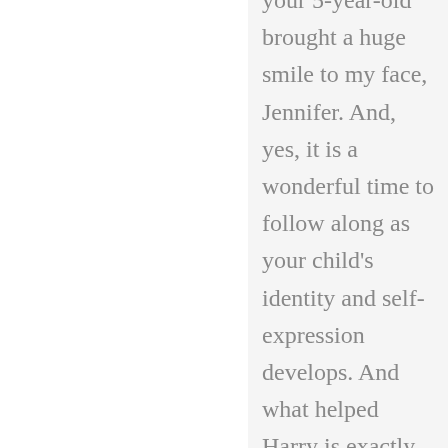your 5-year-old brought a huge smile to my face, Jennifer. And, yes, it is a wonderful time to follow along as your child's identity and self-expression develops. And what helped Harry is exactly what your child